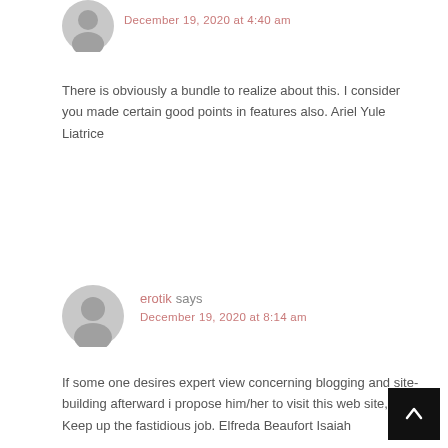December 19, 2020 at 4:40 am
There is obviously a bundle to realize about this. I consider you made certain good points in features also. Ariel Yule Liatrice
erotik says
December 19, 2020 at 8:14 am
If some one desires expert view concerning blogging and site-building afterward i propose him/her to visit this web site, Keep up the fastidious job. Elfreda Beaufort Isaiah